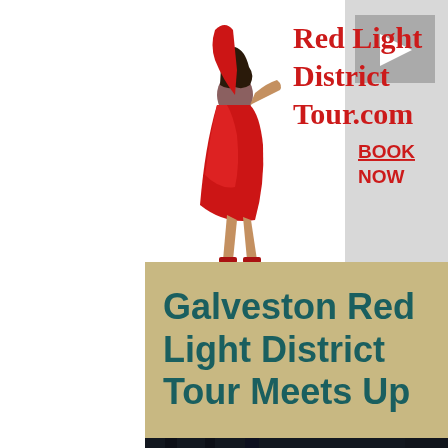[Figure (logo): Red Light District Tour.com logo with illustrated woman in red dress, play button icon, and BOOK NOW link on white background banner]
Galveston Red Light District  Tour Meets Up
[Figure (photo): Dark nighttime street scene photograph with bright starburst street lights on the right side, dark atmospheric urban setting]